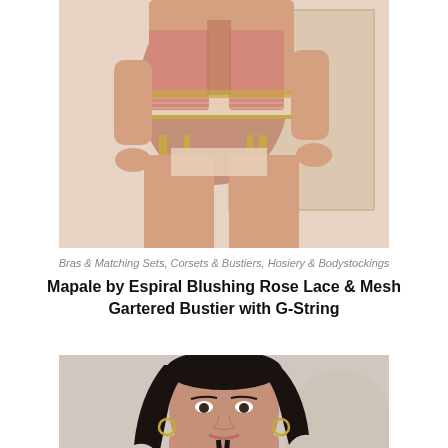[Figure (photo): Model wearing a pink and gold lace gartered bustier with G-string lingerie set, standing in an elegant room setting.]
Bras & Matching Sets, Corsets & Bustiers, Hosiery & Bodystockings
Mapale by Espiral Blushing Rose Lace & Mesh Gartered Bustier with G-String
[Figure (photo): Dark-haired model wearing a black and nude strappy lingerie piece, photographed from the shoulders up against a light background.]